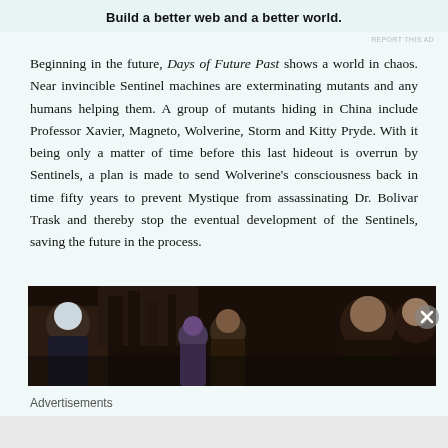Build a better web and a better world.
Beginning in the future, Days of Future Past shows a world in chaos. Near invincible Sentinel machines are exterminating mutants and any humans helping them. A group of mutants hiding in China include Professor Xavier, Magneto, Wolverine, Storm and Kitty Pryde. With it being only a matter of time before this last hideout is overrun by Sentinels, a plan is made to send Wolverine's consciousness back in time fifty years to prevent Mystique from assassinating Dr. Bolivar Trask and thereby stop the eventual development of the Sentinels, saving the future in the process.
[Figure (photo): Dark movie still showing characters in a dimly lit scene, appears to be from X-Men: Days of Future Past]
Advertisements